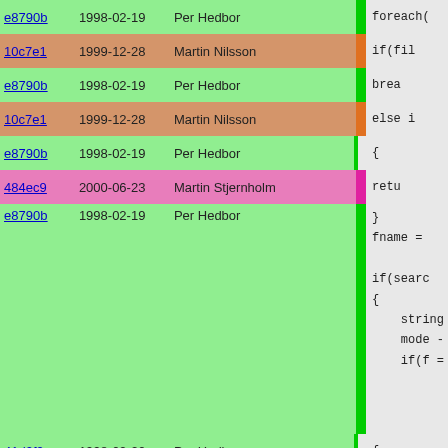| hash | date | author | bar | code |
| --- | --- | --- | --- | --- |
| e8790b | 1998-02-19 | Per Hedbor |  | foreach( |
| 10c7e1 | 1999-12-28 | Martin Nilsson |  | if(fil |
| e8790b | 1998-02-19 | Per Hedbor |  | brea |
| 10c7e1 | 1999-12-28 | Martin Nilsson |  | else i |
| e8790b | 1998-02-19 | Per Hedbor |  | { |
| 484ec9 | 2000-06-23 | Martin Stjernholm |  | retu |
| e8790b | 1998-02-19 | Per Hedbor |  | }
fname =

if(searc
{
    string
    mode -
    if(f = |
| 41d0f9 | 1998-02-20 | Per Hedbor |  | { |
| 9bb813 | 1998-09-12 | Per Hedbor |  | // |
| e8790b | 1998-02-19 | Per Hedbor |  | retu |
| 41d0f9 | 1998-02-20 | Per Hedbor |  | } |
| 238083 | 1998-02-22 | Per Hedbor |  | //      ret |
| e8790b | 1998-02-19 | Per Hedbor |  | } |
|  |  |  |  | if(mode- |